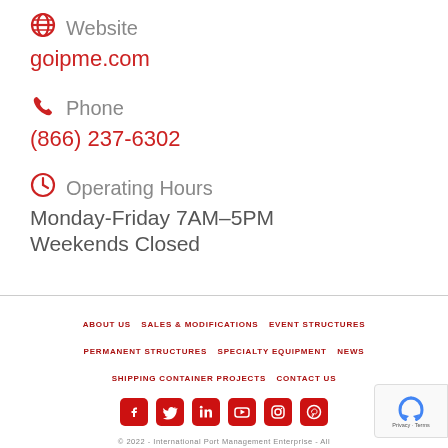Website
goipme.com
Phone
(866) 237-6302
Operating Hours
Monday-Friday 7AM–5PM
Weekends Closed
ABOUT US  SALES & MODIFICATIONS  EVENT STRUCTURES  PERMANENT STRUCTURES  SPECIALTY EQUIPMENT  NEWS  SHIPPING CONTAINER PROJECTS  CONTACT US
© 2022 - International Port Management Enterprise - All Rights Reserved.